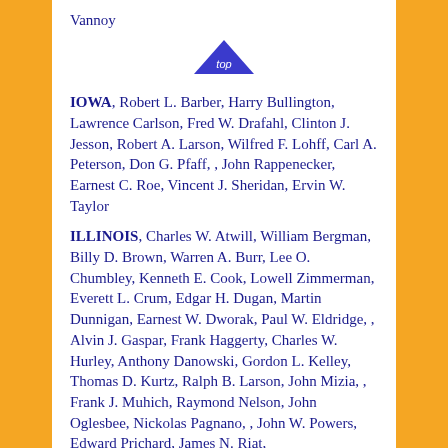Vannoy
[Figure (other): Blue triangle 'top' navigation link/icon]
IOWA, Robert L. Barber, Harry Bullington, Lawrence Carlson, Fred W. Drafahl, Clinton J. Jesson, Robert A. Larson, Wilfred F. Lohff, Carl A. Peterson, Don G. Pfaff, , John Rappenecker, Earnest C. Roe, Vincent J. Sheridan, Ervin W. Taylor
ILLINOIS, Charles W. Atwill, William Bergman, Billy D. Brown, Warren A. Burr, Lee O. Chumbley, Kenneth E. Cook, Lowell Zimmerman, Everett L. Crum, Edgar H. Dugan, Martin Dunnigan, Earnest W. Dworak, Paul W. Eldridge, , Alvin J. Gaspar, Frank Haggerty, Charles W. Hurley, Anthony Danowski, Gordon L. Kelley, Thomas D. Kurtz, Ralph B. Larson, John Mizia, , Frank J. Muhich, Raymond Nelson, John Oglesbee, Nickolas Pagnano, , John W. Powers, Edward Prichard, James N. Riat,